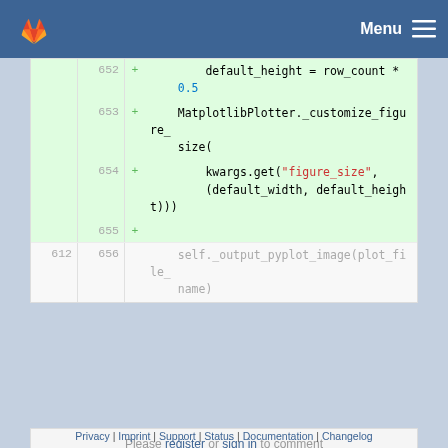Menu
[Figure (screenshot): GitLab code diff view showing added lines 652-656 with Python code for MatplotlibPlotter figure sizing, and unchanged line 612/656 with self._output_pyplot_image call]
Please register or sign in to comment
Privacy | Imprint | Support | Status | Documentation | Changelog